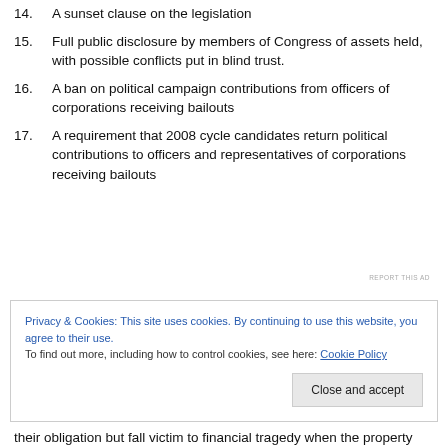14. A sunset clause on the legislation
15. Full public disclosure by members of Congress of assets held, with possible conflicts put in blind trust.
16. A ban on political campaign contributions from officers of corporations receiving bailouts
17. A requirement that 2008 cycle candidates return political contributions to officers and representatives of corporations receiving bailouts
REPORT THIS AD
Privacy & Cookies: This site uses cookies. By continuing to use this website, you agree to their use.
To find out more, including how to control cookies, see here: Cookie Policy
their obligation but fall victim to financial tragedy when the property